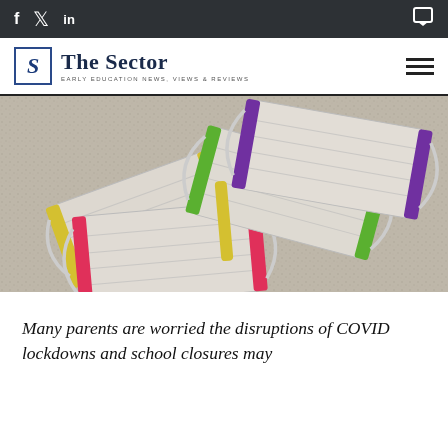f  twitter  in  [comment icon]
[Figure (logo): The Sector logo — stylized S in a box, with text 'The Sector' and tagline 'EARLY EDUCATION NEWS, VIEWS & REVIEWS'. Hamburger menu icon on right.]
[Figure (photo): Photograph of four colourful face masks laid on a granite countertop. The masks are white/grey with coloured trim: yellow, pink/magenta, green, and purple ear loops and side strips.]
Many parents are worried the disruptions of COVID lockdowns and school closures may